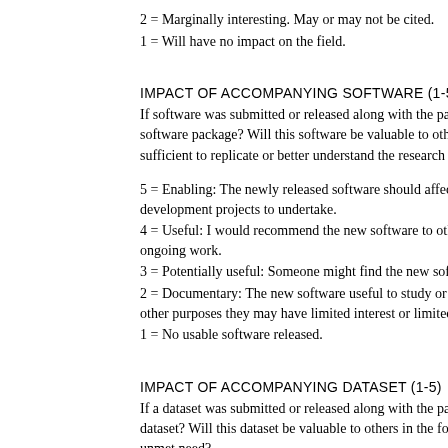2 = Marginally interesting. May or may not be cited.
1 = Will have no impact on the field.
IMPACT OF ACCOMPANYING SOFTWARE (1-5)
If software was submitted or released along with the paper, what software package? Will this software be valuable to others? Does sufficient to replicate or better understand the research in the pap
5 = Enabling: The newly released software should affect other p development projects to undertake.
4 = Useful: I would recommend the new software to other resear ongoing work.
3 = Potentially useful: Someone might find the new software use
2 = Documentary: The new software useful to study or replicate other purposes they may have limited interest or limited usability
1 = No usable software released.
IMPACT OF ACCOMPANYING DATASET (1-5)
If a dataset was submitted or released along with the paper, what dataset? Will this dataset be valuable to others in the form in wh unmet need?